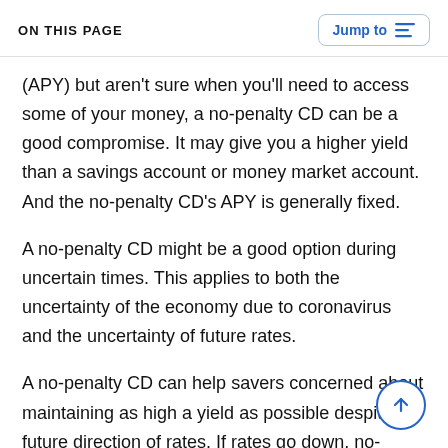ON THIS PAGE   Jump to
(APY) but aren't sure when you'll need to access some of your money, a no-penalty CD can be a good compromise. It may give you a higher yield than a savings account or money market account. And the no-penalty CD's APY is generally fixed.
A no-penalty CD might be a good option during uncertain times. This applies to both the uncertainty of the economy due to coronavirus and the uncertainty of future rates.
A no-penalty CD can help savers concerned about maintaining as high a yield as possible despite the future direction of rates. If rates go down, no-penalty